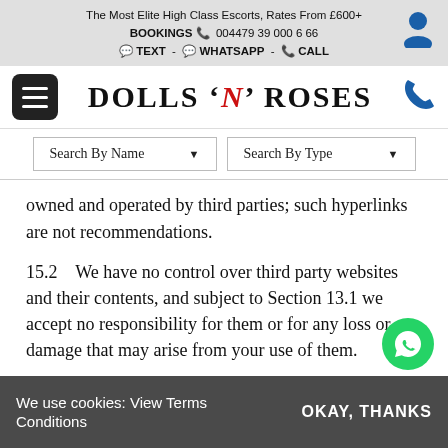The Most Elite High Class Escorts, Rates From £600+
BOOKINGS 📞 00447939000666
💬 TEXT - © WHATSAPP - 📞 CALL
[Figure (logo): Dolls N Roses website logo with hamburger menu, site title 'DOLLS N ROSES' and phone icon]
[Figure (other): Search By Name dropdown and Search By Type dropdown]
owned and operated by third parties; such hyperlinks are not recommendations.
15.2    We have no control over third party websites and their contents, and subject to Section 13.1 we accept no responsibility for them or for any loss or damage that may arise from your use of them.
16  Variation
We use cookies: View Terms Conditions
OKAY, THANKS